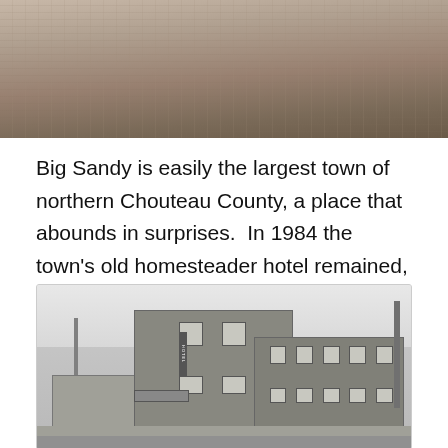[Figure (photo): Top portion of a historical photograph showing a tan/brown textured surface, likely a landscape or building exterior, cropped at the top of the page.]
Big Sandy is easily the largest town of northern Chouteau County, a place that abounds in surprises.  In 1984 the town's old homesteader hotel remained, and so many other Montana towns had lost these artifacts of the early 20th century settlement.
[Figure (photo): Black and white photograph of a two-story brick building (the homesteader hotel) in Big Sandy, Montana. The building is rectangular with multiple windows on the upper floor. There is a storefront with an awning on the left side. Power lines and poles are visible on the right. Other buildings and vehicles are visible in the background to the left.]